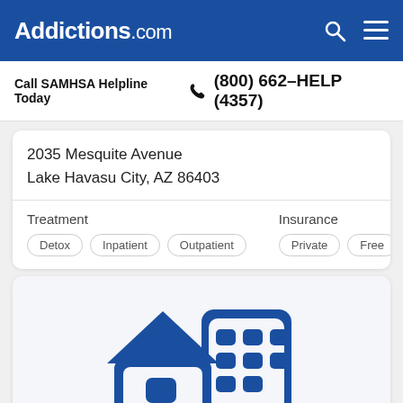Addictions.com
Call SAMHSA Helpline Today  (800) 662-HELP (4357)
2035 Mesquite Avenue
Lake Havasu City, AZ 86403
Treatment
Detox  Inpatient  Outpatient
Insurance
Private  Free
[Figure (illustration): Icon of a house and a multi-story building in dark blue, representing a rehabilitation or treatment facility.]